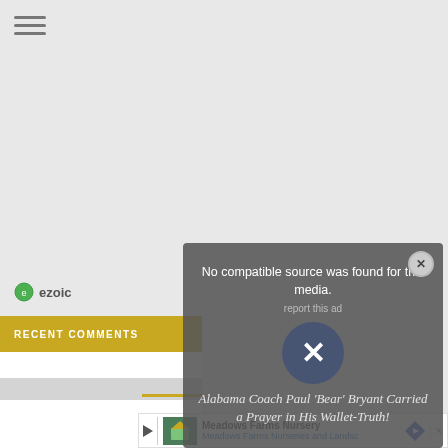[Figure (screenshot): Hamburger menu icon (three horizontal lines) in top-left corner of a webpage with light gray background]
[Figure (screenshot): ezoic logo/badge with green circular icon and 'ezoic' text in gray]
RECENT COMMENTS
[Figure (screenshot): Modal dialog overlay with dark semi-transparent background showing 'No compatible source was found for this media.' message with a close X button and a large X circle button. Below the modal, article headline text reads 'Alabama Coach Paul Bear Bryant Carried a Prayer in His Wallet-Truth!']
No compatible source was found for this media.
report this ad
Alabama Coach Paul 'Bear' Bryant Carried a Prayer in His Wallet-Truth!
[Figure (screenshot): Advertisement banner at bottom: Meadows Farms Nursery ad with green icon, 'Meadows Farms Nursery' title, 'Meadows Farms Nurseries and Landsc...' subtitle, play button, and blue arrow navigation icon]